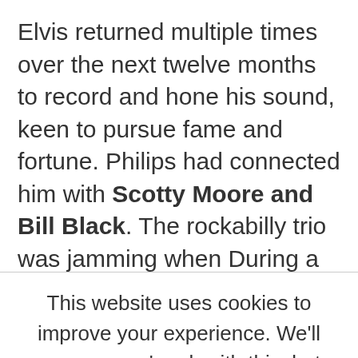Elvis returned multiple times over the next twelve months to record and hone his sound, keen to pursue fame and fortune. Philips had connected him with Scotty Moore and Bill Black. The rockabilly trio was jamming when During a change in tapes. Elvis started
This website uses cookies to improve your experience. We'll assume you're ok with this, but you can opt-out if you wish. Cookie settings ACCEPT